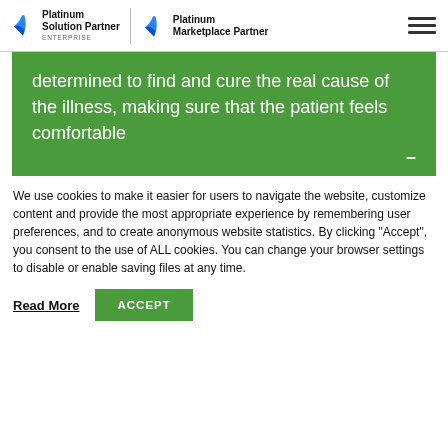Platinum Solution Partner ENTERPRISE | Platinum Marketplace Partner
determined to find and cure the real cause of the illness, making sure that the patient feels comfortable
We use cookies to make it easier for users to navigate the website, customize content and provide the most appropriate experience by remembering user preferences, and to create anonymous website statistics. By clicking "Accept", you consent to the use of ALL cookies. You can change your browser settings to disable or enable saving files at any time.
Read More | ACCEPT